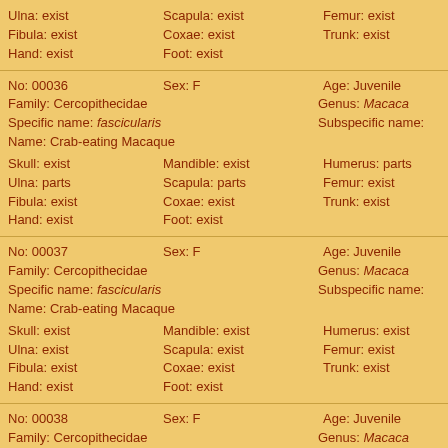| Ulna: exist | Scapula: exist | Femur: exist | Tibia: exist |
| Fibula: exist | Coxae: exist | Trunk: exist |  |
| Hand: exist | Foot: exist |  |  |
| No: 00036 | Sex: F | Age: Juvenile |  |
| Family: Cercopithecidae |  | Genus: Macaca |  |
| Specific name: fascicularis |  | Subspecific name: |  |
| Name: Crab-eating Macaque |  |  |  |
| Skull: exist | Mandible: exist | Humerus: parts | Radius: parts |
| Ulna: parts | Scapula: parts | Femur: exist | Tibia: exist |
| Fibula: exist | Coxae: exist | Trunk: exist |  |
| Hand: exist | Foot: exist |  |  |
| No: 00037 | Sex: F | Age: Juvenile |  |
| Family: Cercopithecidae |  | Genus: Macaca |  |
| Specific name: fascicularis |  | Subspecific name: |  |
| Name: Crab-eating Macaque |  |  |  |
| Skull: exist | Mandible: exist | Humerus: exist | Radius: exist |
| Ulna: exist | Scapula: exist | Femur: exist | Tibia: exist |
| Fibula: exist | Coxae: exist | Trunk: exist |  |
| Hand: exist | Foot: exist |  |  |
| No: 00038 | Sex: F | Age: Juvenile |  |
| Family: Cercopithecidae |  | Genus: Macaca |  |
| Specific name: fascicularis |  | Subspecific name: |  |
| Name: Crab-eating Macaque |  |  |  |
| Skull: exist | Mandible: exist | Humerus: exist | Radius: exist |
| Ulna: exist | Scapula: exist | Femur: exist | Tibia: exist |
| Fibula: exist | Coxae: exist | Trunk: exist |  |
| Hand: exist | Foot: exist |  |  |